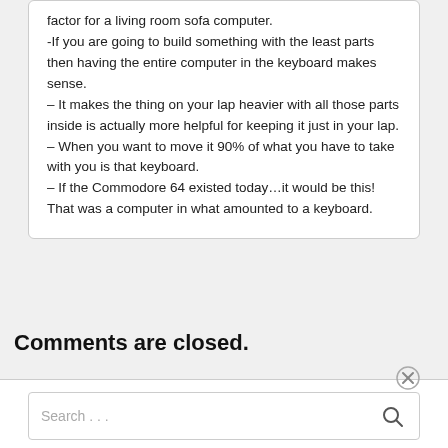factor for a living room sofa computer. -If you are going to build something with the least parts then having the entire computer in the keyboard makes sense. – It makes the thing on your lap heavier with all those parts inside is actually more helpful for keeping it just in your lap. – When you want to move it 90% of what you have to take with you is that keyboard. – If the Commodore 64 existed today…it would be this! That was a computer in what amounted to a keyboard.
Comments are closed.
Search ...